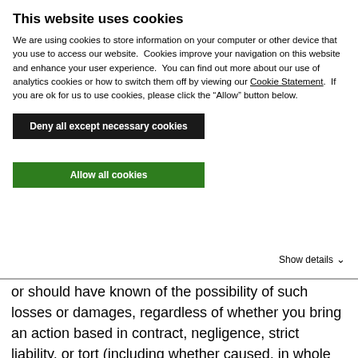This website uses cookies
We are using cookies to store information on your computer or other device that you use to access our website.  Cookies improve your navigation on this website and enhance your user experience.  You can find out more about our use of analytics cookies or how to switch them off by viewing our Cookie Statement.  If you are ok for us to use cookies, please click the “Allow” button below.
Deny all except necessary cookies
Allow all cookies
Show details
or should have known of the possibility of such losses or damages, regardless of whether you bring an action based in contract, negligence, strict liability, or tort (including whether caused, in whole or in part, by negligence, acts of god, telecommunications failure, or destruction of the Program).
Some jurisdictions do not allow the exclusion or limitation of incidental or consequential damages of the sort that are described above, so the above limitation or exclusion